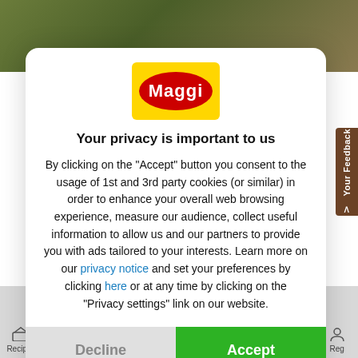[Figure (logo): Maggi brand logo: yellow rectangle with red oval containing white Maggi text]
Your privacy is important to us
By clicking on the "Accept" button you consent to the usage of 1st and 3rd party cookies (or similar) in order to enhance your overall web browsing experience, measure our audience, collect useful information to allow us and our partners to provide you with ads tailored to your interests. Learn more on our privacy notice and set your preferences by clicking here or at any time by clicking on the "Privacy settings" link on our website.
Decline
Accept
Recipes   Maggi   MAGGI Egypt   Magazine   Marketplace   FAQs   Search   Reg